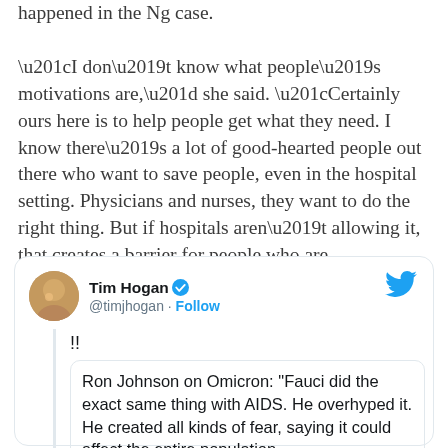happened in the Ng case. “I don’t know what people’s motivations are,” she said. “Certainly ours here is to help people get what they need. I know there’s a lot of good-hearted people out there who want to save people, even in the hospital setting. Physicians and nurses, they want to do the right thing. But if hospitals aren’t allowing it, that creates a barrier for people who are hospitalized.”
[Figure (screenshot): Embedded tweet from @timjhogan (Tim Hogan, verified) reading: !! Ron Johnson on Omicron: "Fauci did the exact same thing with AIDS. He overhyped it. He created all kinds of fear, saying it could affect the entire population]